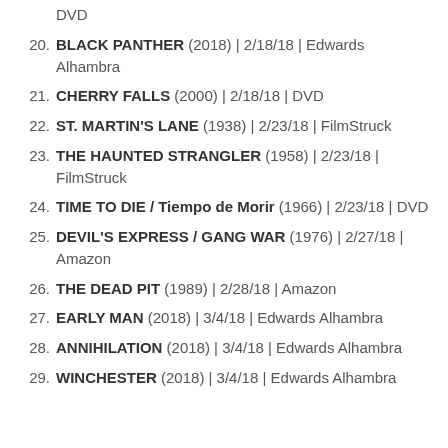DVD
BLACK PANTHER (2018) | 2/18/18 | Edwards Alhambra
CHERRY FALLS (2000) | 2/18/18 | DVD
ST. MARTIN'S LANE (1938) | 2/23/18 | FilmStruck
THE HAUNTED STRANGLER (1958) | 2/23/18 | FilmStruck
TIME TO DIE / Tiempo de Morir (1966) | 2/23/18 | DVD
DEVIL'S EXPRESS / GANG WAR (1976) | 2/27/18 | Amazon
THE DEAD PIT (1989) | 2/28/18 | Amazon
EARLY MAN (2018) | 3/4/18 | Edwards Alhambra
ANNIHILATION (2018) | 3/4/18 | Edwards Alhambra
WINCHESTER (2018) | 3/4/18 | Edwards Alhambra